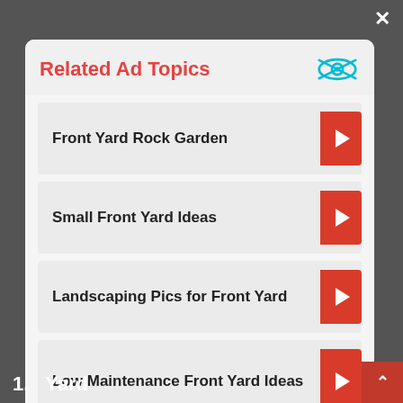Related Ad Topics
Front Yard Rock Garden
Small Front Yard Ideas
Landscaping Pics for Front Yard
Low Maintenance Front Yard Ideas
Continue to Site >>